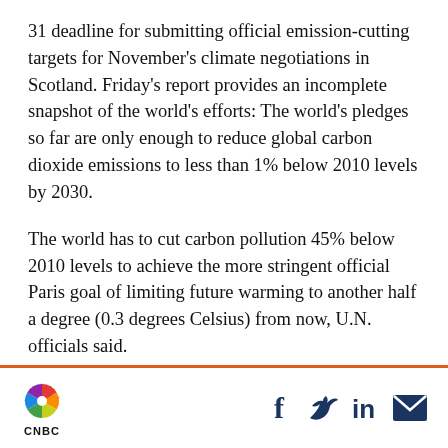31 deadline for submitting official emission-cutting targets for November's climate negotiations in Scotland. Friday's report provides an incomplete snapshot of the world's efforts: The world's pledges so far are only enough to reduce global carbon dioxide emissions to less than 1% below 2010 levels by 2030.
The world has to cut carbon pollution 45% below 2010 levels to achieve the more stringent official Paris goal of limiting future warming to another half a degree (0.3 degrees Celsius) from now, U.N. officials said.
[Figure (logo): CNBC logo with peacock symbol, social media icons for Facebook, Twitter, LinkedIn, and email]